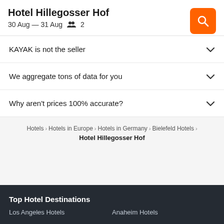Hotel Hillegosser Hof
30 Aug — 31 Aug  👥 2
KAYAK is not the seller
We aggregate tons of data for you
Why aren't prices 100% accurate?
Hotels > Hotels in Europe > Hotels in Germany > Bielefeld Hotels > Hotel Hillegosser Hof
Top Hotel Destinations
Los Angeles Hotels   Anaheim Hotels